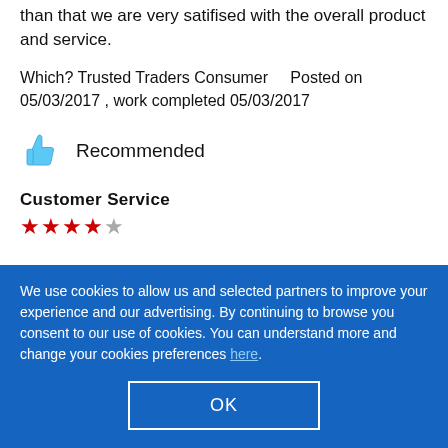day and had to rearrange the date. But other than that we are very satifised with the overall product and service.
Which? Trusted Traders Consumer    Posted on 05/03/2017 , work completed 05/03/2017
Recommended
Customer Service
[Figure (other): 4.5 star rating shown as red stars with one grey half star]
We use cookies to allow us and selected partners to improve your experience and our advertising. By continuing to browse you consent to our use of cookies. You can understand more and change your cookies preferences here.
OK